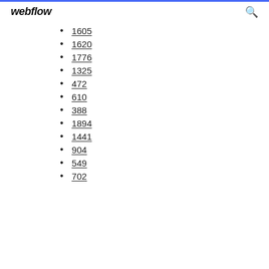webflow
1605
1620
1776
1325
472
610
388
1894
1441
904
549
702